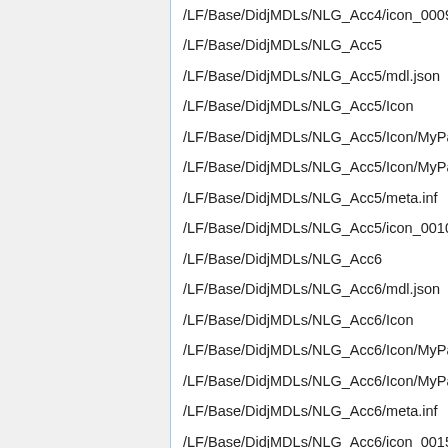/LF/Base/DidjMDLs/NLG_Acc4/icon_0009.p
/LF/Base/DidjMDLs/NLG_Acc5
/LF/Base/DidjMDLs/NLG_Acc5/mdl.json
/LF/Base/DidjMDLs/NLG_Acc5/Icon
/LF/Base/DidjMDLs/NLG_Acc5/Icon/MyPag
/LF/Base/DidjMDLs/NLG_Acc5/Icon/MyPag
/LF/Base/DidjMDLs/NLG_Acc5/meta.inf
/LF/Base/DidjMDLs/NLG_Acc5/icon_0010.p
/LF/Base/DidjMDLs/NLG_Acc6
/LF/Base/DidjMDLs/NLG_Acc6/mdl.json
/LF/Base/DidjMDLs/NLG_Acc6/Icon
/LF/Base/DidjMDLs/NLG_Acc6/Icon/MyPag
/LF/Base/DidjMDLs/NLG_Acc6/Icon/MyPag
/LF/Base/DidjMDLs/NLG_Acc6/meta.inf
/LF/Base/DidjMDLs/NLG_Acc6/icon_0015.p